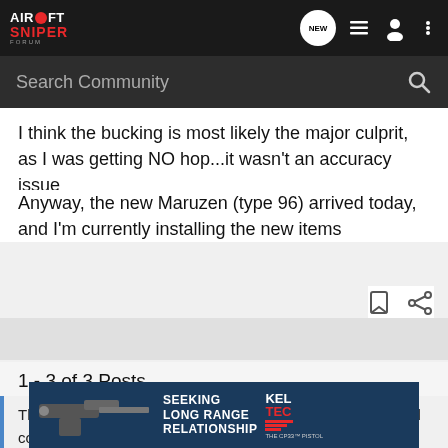Airsoft Sniper Forum - Navigation bar with Search Community
I think the bucking is most likely the major culprit, as I was getting NO hop...it wasn't an accuracy issue
Anyway, the new Maruzen (type 96) arrived today, and I'm currently installing the new items
1 - 3 of 3 Posts
This is an older thread, you may not receive a response, and could be reviving an old thread. Please consider creating a new thread.
[Figure (screenshot): Advertisement banner: SEEKING LONG RANGE RELATIONSHIP - KEL-TEC THE CP33 PISTOL, with image of a pistol on dark blue background]